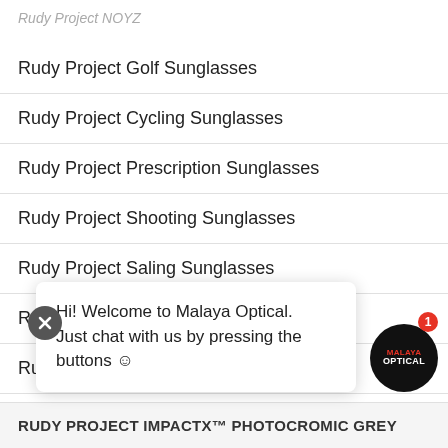Rudy Project NOYZ
Rudy Project Golf Sunglasses
Rudy Project Cycling Sunglasses
Rudy Project Prescription Sunglasses
Rudy Project Shooting Sunglasses
Rudy Project Saling Sunglasses
Rudy Project Triathletes Sunglasses
Rudy Project Military Sunglasses
Rudy Project Walking Sunglasses
Rudy Proje[chat overlay obscured]
Hi! Welcome to Malaya Optical. Just chat with us by pressing the buttons 😊
RUDY PROJECT IMPACTX™ PHOTOCROMIC GREY